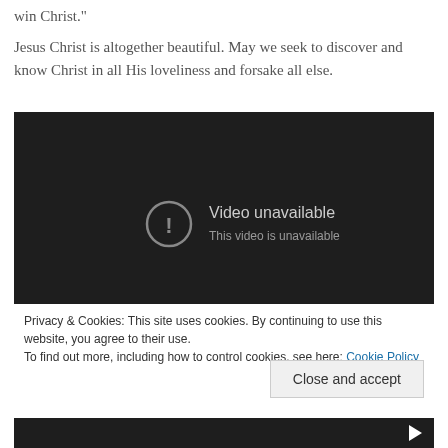win Christ."
Jesus Christ is altogether beautiful. May we seek to discover and know Christ in all His loveliness and forsake all else.
[Figure (screenshot): Embedded video player showing 'Video unavailable' message with exclamation icon on dark background]
Privacy & Cookies: This site uses cookies. By continuing to use this website, you agree to their use.
To find out more, including how to control cookies, see here: Cookie Policy
Close and accept